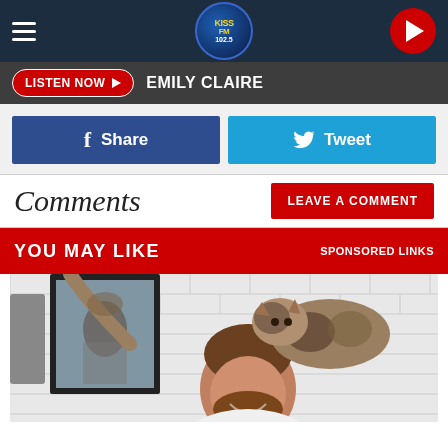[Figure (screenshot): Radio station website screenshot showing navigation bar with hamburger menu, KISS FM 102.5 logo, and red play button on dark navy background]
LISTEN NOW ▶  EMILY CLAIRE
[Figure (screenshot): Facebook Share button (dark blue) and Twitter Tweet button (light blue)]
Comments
LEAVE A COMMENT
YOU MAY LIKE   SPONSORED LINKS
[Figure (photo): A smiling bearded man in white shirt in a bathroom with white subway tiles and a mirror; a calico/tabby cat is standing on his head/shoulders, reflected in the mirror]